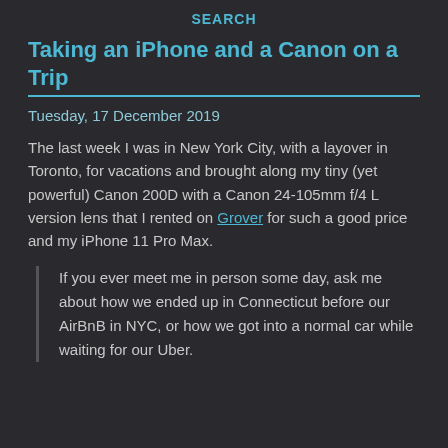SEARCH
Taking an iPhone and a Canon on a Trip
Tuesday, 17 December 2019
The last week I was in New York City, with a layover in Toronto, for vacations and brought along my tiny (yet powerful) Canon 200D with a Canon 24-105mm f/4 L version lens that I rented on Grover for such a good price and my iPhone 11 Pro Max.
If you ever meet me in person some day, ask me about how we ended up in Connecticut before our AirBnB in NYC, or how we got into a normal car while waiting for our Uber.